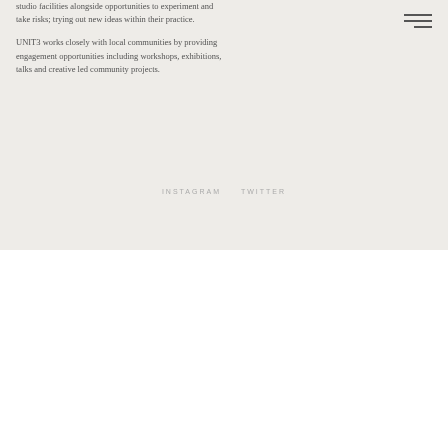studio facilities alongside opportunities to experiment and take risks; trying out new ideas within their practice.
UNIT3 works closely with local communities by providing engagement opportunities including workshops, exhibitions, talks and creative led community projects.
INSTAGRAM   TWITTER
[Figure (logo): Footer logos row: Cultivate, HM Government, European Union European Regional Development Fund, Arts Council England, Cornwall Council]
[Figure (logo): Footer logos row 2: Synesthesia Y-shape logo, @synesthesia.project Instagram, @synesproject Twitter, University of Plymouth logo]